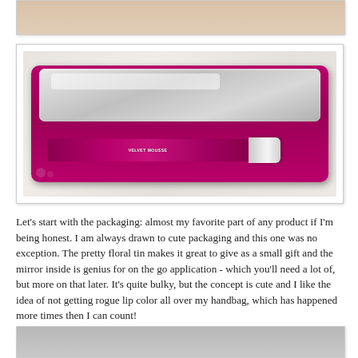[Figure (photo): Partial view of a product photo at top of page, cropped]
[Figure (photo): Photo of Maybelline Velvet Mousse lip color in a purple floral tin with a mirror inside, displayed open on a marble surface]
Let's start with the packaging: almost my favorite part of any product if I'm being honest. I am always drawn to cute packaging and this one was no exception. The pretty floral tin makes it great to give as a small gift and the mirror inside is genius for on the go application - which you'll need a lot of, but more on that later. It's quite bulky, but the concept is cute and I like the idea of not getting rogue lip color all over my handbag, which has happened more times then I can count!
[Figure (photo): Partial view of another product photo at bottom of page, cropped]